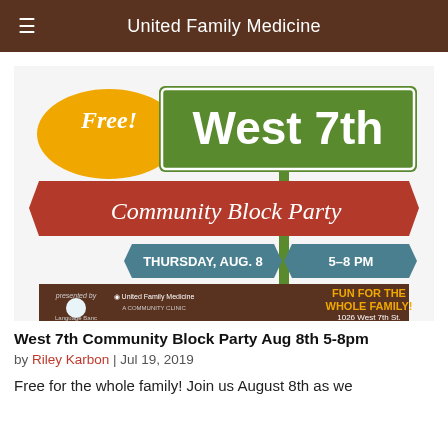United Family Medicine
[Figure (illustration): West 7th Community Block Party flyer. Shows colorful street sign design with 'Free!' in orange bubble, 'West 7th' in large white text on green sign, 'Community Block Party' on red ribbon banner, 'THURSDAY, AUG. 8  5-8 PM' on teal sign, 'FUN FOR THE WHOLE FAMILY!' in orange text, '1026 West 7th St.' Logos for Language Banc and United Family Medicine A Community Clinic at bottom.]
West 7th Community Block Party Aug 8th 5-8pm
by Riley Karbon | Jul 19, 2019
Free for the whole family! Join us August 8th as we